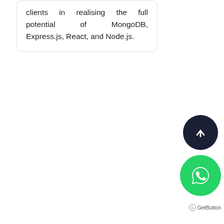clients in realising the full potential of MongoDB, Express.js, React, and Node.js.
[Figure (other): Scroll-to-top button: dark navy circle with white upward arrow]
[Figure (other): WhatsApp contact button: green circle with white WhatsApp speech bubble logo]
[Figure (logo): GetButton branding label at bottom right]